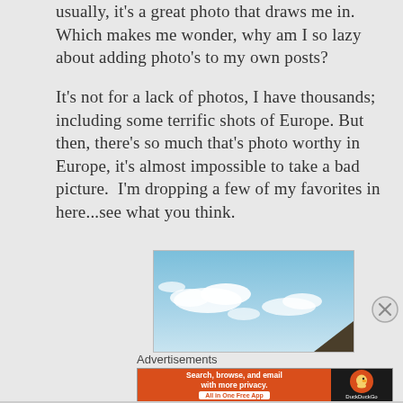usually, it's a great photo that draws me in. Which makes me wonder, why am I so lazy about adding photo's to my own posts?
It's not for a lack of photos, I have thousands; including some terrific shots of Europe. But then, there's so much that's photo worthy in Europe, it's almost impossible to take a bad picture.  I'm dropping a few of my favorites in here...see what you think.
[Figure (photo): A photograph showing a blue sky with white clouds and a dark rooftop visible in the bottom right corner.]
Advertisements
[Figure (screenshot): DuckDuckGo advertisement banner: 'Search, browse, and email with more privacy. All in One Free App' on an orange background with the DuckDuckGo duck logo on a dark background on the right.]